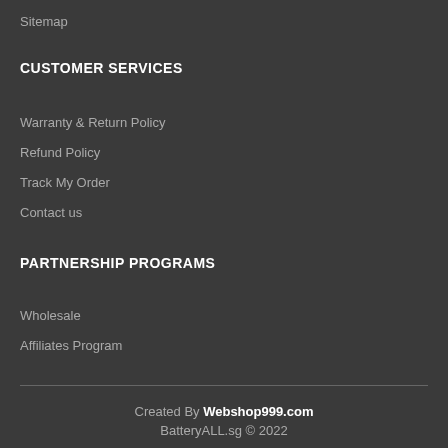Sitemap
CUSTOMER SERVICES
Warranty & Return Policy
Refund Policy
Track My Order
Contact us
PARTNERSHIP PROGRAMS
Wholesale
Affiliates Program
Created By Webshop999.com
BatteryALL.sg © 2022